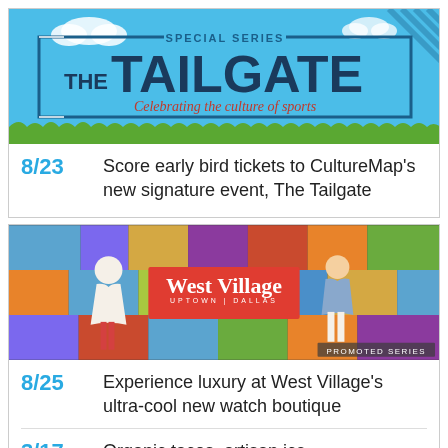[Figure (illustration): The Tailgate special series banner with sky blue background, clouds, diagonal stripes, grass silhouette, and text 'SPECIAL SERIES / THE TAILGATE / Celebrating the culture of sports']
8/23  Score early bird tickets to CultureMap's new signature event, The Tailgate
[Figure (photo): West Village Uptown Dallas promotional banner showing two people posing against a colorful geometric hexagonal wall, with red West Village logo overlay and 'PROMOTED SERIES' label]
8/25  Experience luxury at West Village's ultra-cool new watch boutique
3/17  Organic tacos, artisan ice